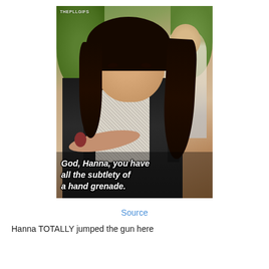[Figure (photo): A young woman with long dark hair wearing a black and white patterned sleeveless top, arms crossed, with a slightly amused expression. A man in a light jacket is visible in the background. The image has a warm reddish-orange tint. Watermark reads 'THEPLLGIFS'. Subtitle overlay reads: 'God, Hanna, you have all the subtlety of a hand grenade.']
Source
Hanna TOTALLY jumped the gun here